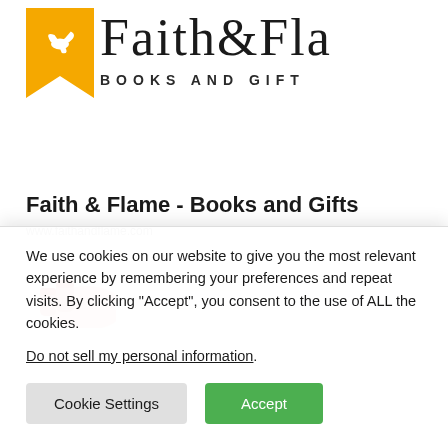[Figure (logo): Faith & Flame Books and Gifts website logo — yellow bookmark/pennant icon with dove, beside serif text 'Faith&Fla...' (partially cut off) and 'BOOKS AND GIFT' in bold caps]
Faith & Flame - Books and Gifts
www.faithandflame.com
[Figure (photo): Partial banner photo showing a hand with red fingernails touching or holding a white fabric or paper surface]
We use cookies on our website to give you the most relevant experience by remembering your preferences and repeat visits. By clicking “Accept”, you consent to the use of ALL the cookies.
Do not sell my personal information.
Cookie Settings   Accept